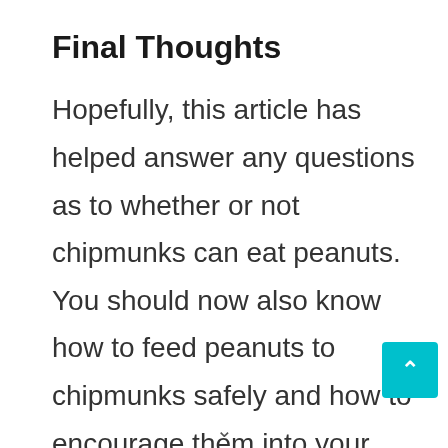Final Thoughts
Hopefully, this article has helped answer any questions as to whether or not chipmunks can eat peanuts. You should now also know how to feed peanuts to chipmunks safely and how to encourage them into your garde